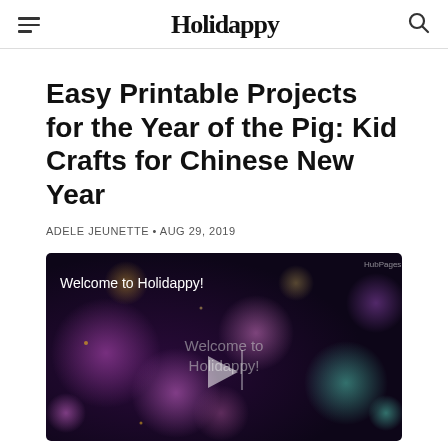Holidappy
Easy Printable Projects for the Year of the Pig: Kid Crafts for Chinese New Year
ADELE JEUNETTE • AUG 29, 2019
[Figure (screenshot): Video thumbnail showing a dark bokeh background with purple and magenta tones. Text reads 'Welcome to Holidappy!' at top left and 'Welcome to Holidappy!' in center with a play button overlay.]